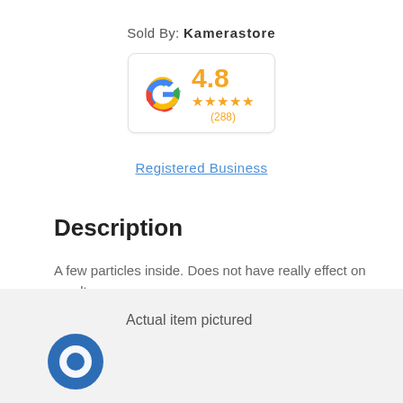Sold By: Kamerastore
[Figure (logo): Google rating badge showing 4.8 stars with 288 reviews]
Registered Business
Description
A few particles inside. Does not have really effect on results.
Actual item pictured
[Figure (illustration): Blue circular chat/message bubble icon in bottom left corner]